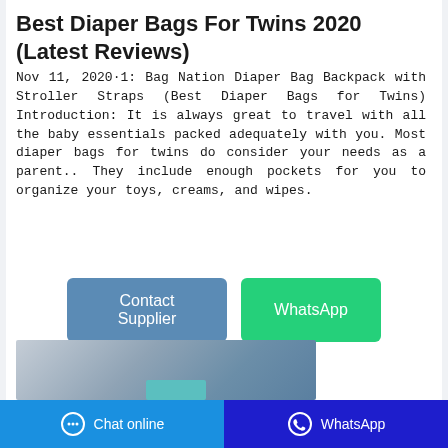Best Diaper Bags For Twins 2020 (Latest Reviews)
Nov 11, 2020·1: Bag Nation Diaper Bag Backpack with Stroller Straps (Best Diaper Bags for Twins) Introduction: It is always great to travel with all the baby essentials packed adequately with you. Most diaper bags for twins do consider your needs as a parent.. They include enough pockets for you to organize your toys, creams, and wipes.
[Figure (other): Contact Supplier and WhatsApp buttons]
[Figure (photo): Photo of a diaper bag product, grey/blue tones with teal accent]
Chat online   WhatsApp